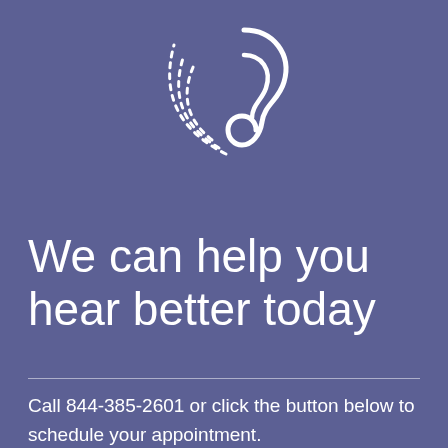[Figure (logo): Hearing aid / sound wave logo icon in white on purple background, showing a stylized ear with dashed arc lines and a curved sound symbol]
We can help you hear better today
Call 844-385-2601 or click the button below to schedule your appointment.